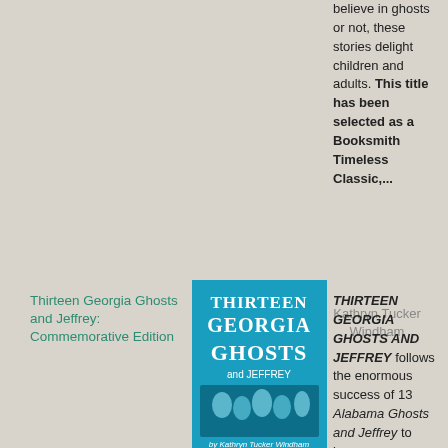believe in ghosts or not, these stories delight children and adults. This title has been selected as a Booksmith Timeless Classic,...
Thirteen Georgia Ghosts and Jeffrey: Commemorative Edition
[Figure (photo): Book cover for Thirteen Georgia Ghosts and Jeffrey by Kathryn Tucker Windham. Blue cover with stylized gothic text and illustrated figures.]
Kathryn Tucker Windham
THIRTEEN GEORGIA GHOSTS AND JEFFREY follows the enormous success of 13 Alabama Ghosts and Jeffrey to become a